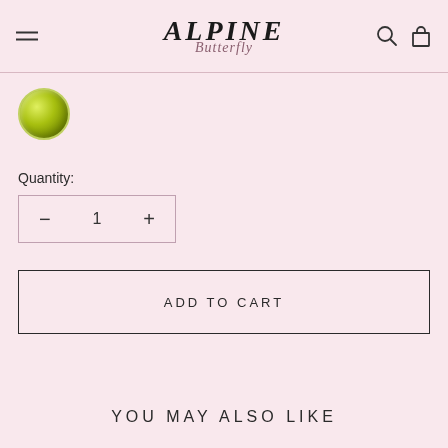ALPINE Butterfly
[Figure (illustration): Circular color swatch showing yellow-green gradient, representing a hair color option]
Quantity:
− 1 +
ADD TO CART
YOU MAY ALSO LIKE